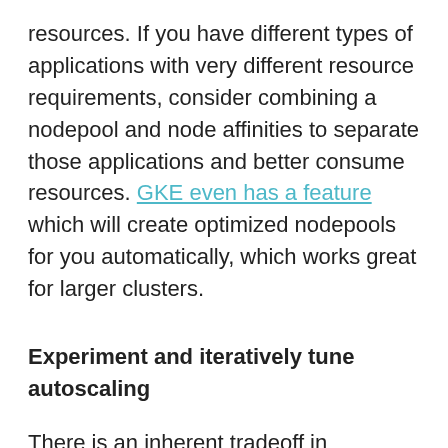resources. If you have different types of applications with very different resource requirements, consider combining a nodepool and node affinities to separate those applications and better consume resources. GKE even has a feature which will create optimized nodepools for you automatically, which works great for larger clusters.
Experiment and iteratively tune autoscaling
There is an inherent tradeoff in autoscaling between the amount of over-provisioned resources you have (the "buffer"), and the speed at which autoscaling can react to change. Treat this tradeoff with an experimental mindset, and optimize it over time.
When adding pods using Horizontal Pod Autoscaler